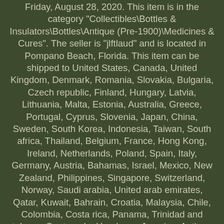Friday, August 28, 2020. This item is in the category "Collectibles\Bottles & Insulators\Bottles\Antique (Pre-1900)\Medicines & Cures". The seller is "jlftlaud" and is located in Pompano Beach, Florida. This item can be shipped to United States, Canada, United Kingdom, Denmark, Romania, Slovakia, Bulgaria, Czech republic, Finland, Hungary, Latvia, Lithuania, Malta, Estonia, Australia, Greece, Portugal, Cyprus, Slovenia, Japan, China, Sweden, South Korea, Indonesia, Taiwan, South africa, Thailand, Belgium, France, Hong Kong, Ireland, Netherlands, Poland, Spain, Italy, Germany, Austria, Bahamas, Israel, Mexico, New Zealand, Philippines, Singapore, Switzerland, Norway, Saudi arabia, United arab emirates, Qatar, Kuwait, Bahrain, Croatia, Malaysia, Chile, Colombia, Costa rica, Panama, Trinidad and tobago, Guatemala, Honduras, Jamaica, Antigua and barbuda, Aruba, Belize, Dominica, Grenada, Saint kitts and nevis, Saint lucia, Montserrat, Turks and caicos islands, Barbados, Bangladesh, Bermuda, Brunei darussalam, Bolivia, Egypt, French guiana, Guernsey, Gibraltar, Guadeloupe, Iceland, Jersey, Jordan, Cambodia, Cayman islands, Liechtenstein